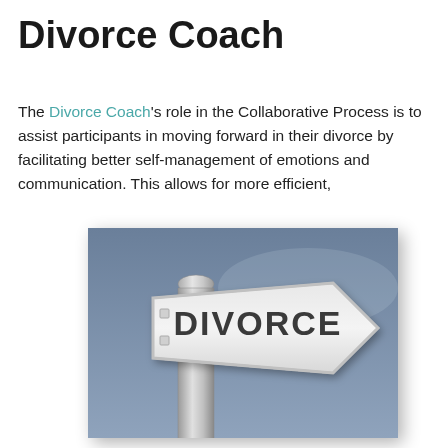Divorce Coach
The Divorce Coach's role in the Collaborative Process is to assist participants in moving forward in their divorce by facilitating better self-management of emotions and communication. This allows for more efficient,
[Figure (photo): A street sign on a metal pole pointing right with the word DIVORCE written on it in bold dark letters, against a blue-grey sky background.]